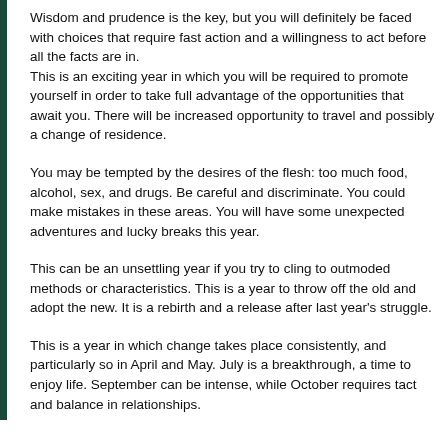Wisdom and prudence is the key, but you will definitely be faced with choices that require fast action and a willingness to act before all the facts are in.
This is an exciting year in which you will be required to promote yourself in order to take full advantage of the opportunities that await you. There will be increased opportunity to travel and possibly a change of residence.
You may be tempted by the desires of the flesh: too much food, alcohol, sex, and drugs. Be careful and discriminate. You could make mistakes in these areas. You will have some unexpected adventures and lucky breaks this year.
This can be an unsettling year if you try to cling to outmoded methods or characteristics. This is a year to throw off the old and adopt the new. It is a rebirth and a release after last year's struggle.
This is a year in which change takes place consistently, and particularly so in April and May. July is a breakthrough, a time to enjoy life. September can be intense, while October requires tact and balance in relationships.
Numero Forecast for Number 6